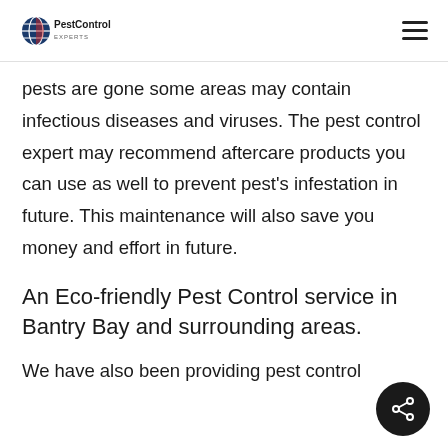PestControl [logo] [hamburger menu]
pests are gone some areas may contain infectious diseases and viruses. The pest control expert may recommend aftercare products you can use as well to prevent pest's infestation in future. This maintenance will also save you money and effort in future.
An Eco-friendly Pest Control service in Bantry Bay and surrounding areas.
We have also been providing pest control